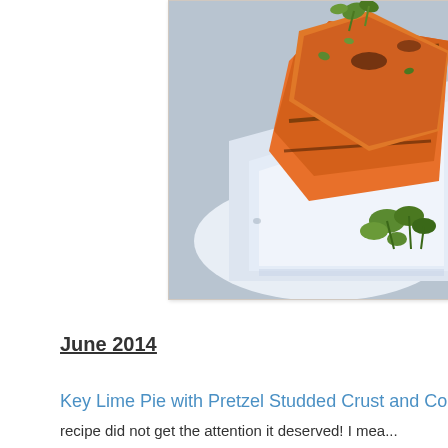[Figure (photo): Photo of grilled or roasted food (appears to be meat or fish with orange/salmon coloring) garnished with fresh cilantro/herbs on a white rectangular plate, set on a light blue/gray surface]
June 2014
Key Lime Pie with Pretzel Studded Crust and Coc... recipe did not get the attention it deserved!  I mea... easier than you would think to make and is just rig...